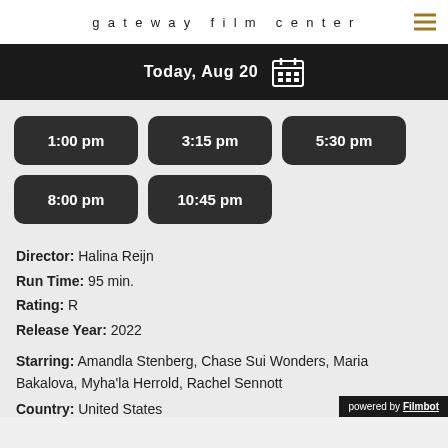gateway film center
Today, Aug 20
1:00 pm
3:15 pm
5:30 pm
8:00 pm
10:45 pm
Director: Halina Reijn
Run Time: 95 min.
Rating: R
Release Year: 2022
Starring: Amandla Stenberg, Chase Sui Wonders, Maria Bakalova, Myha'la Herrold, Rachel Sennott
Country: United States
powered by Filmbot